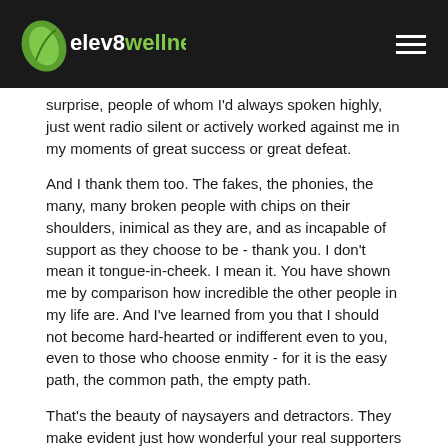elev8wellness
surprise, people of whom I'd always spoken highly, just went radio silent or actively worked against me in my moments of great success or great defeat.
And I thank them too. The fakes, the phonies, the many, many broken people with chips on their shoulders, inimical as they are, and as incapable of support as they choose to be - thank you. I don't mean it tongue-in-cheek. I mean it. You have shown me by comparison how incredible the other people in my life are. And I've learned from you that I should not become hard-hearted or indifferent even to you, even to those who choose enmity - for it is the easy path, the common path, the empty path.
That's the beauty of naysayers and detractors. They make evident just how wonderful your real supporters